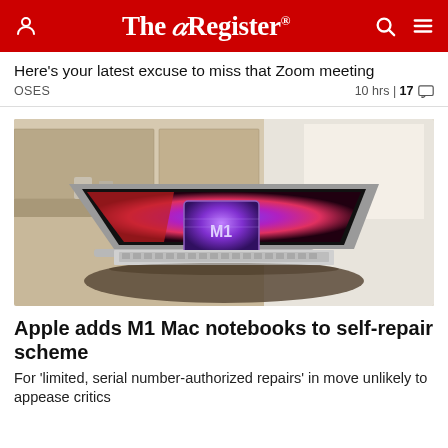The Register
Here's your latest excuse to miss that Zoom meeting
OSES  10 hrs | 17
[Figure (photo): MacBook laptop open on a round table showing an M1 chip graphic on screen, kitchen background]
Apple adds M1 Mac notebooks to self-repair scheme
For 'limited, serial number-authorized repairs' in move unlikely to appease critics